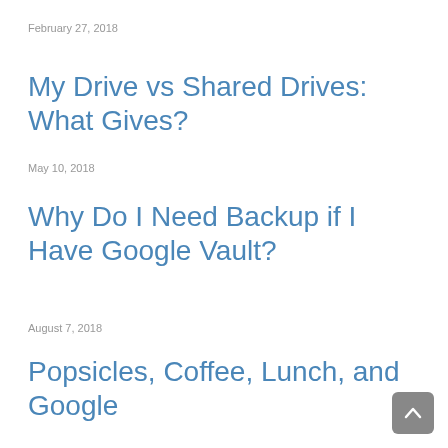February 27, 2018
My Drive vs Shared Drives: What Gives?
May 10, 2018
Why Do I Need Backup if I Have Google Vault?
August 7, 2018
Popsicles, Coffee, Lunch, and Google